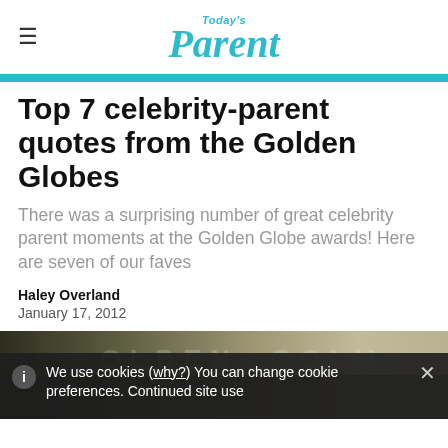Today's Parent
Top 7 celebrity-parent quotes from the Golden Globes
There was a surprising number of great celebrity parent moments at the Golden Globe awards! Here are seven of our faves
Haley Overland
January 17, 2012
[Figure (photo): Golden Globes background photo with people partially visible]
We use cookies (why?) You can change cookie preferences. Continued site use